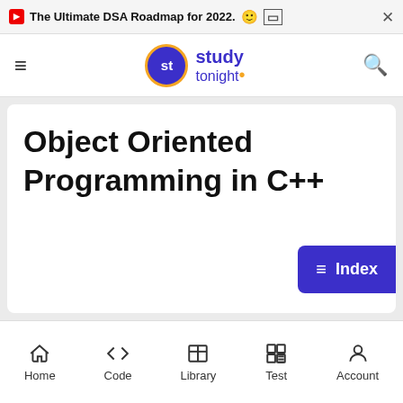The Ultimate DSA Roadmap for 2022.
[Figure (logo): Study Tonight logo with purple circle containing 'st', text 'study tonight' in purple with orange dot]
Object Oriented Programming in C++
≡ Index
Home  Code  Library  Test  Account